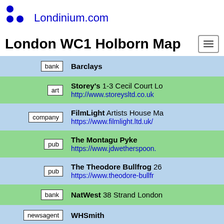Londinium.com
London WC1 Holborn Map
| Tag | Entry |
| --- | --- |
| bank | Barclays |
| art | Storey's 1-3 Cecil Court Lo… http://www.storeysltd.co.uk |
| company | FilmLight Artists House Ma… https://www.filmlight.ltd.uk/ |
| pub | The Montagu Pyke https://www.jdwetherspoon… |
| pub | The Theodore Bullfrog 26… https://www.theodore-bullfr… |
| bank | NatWest 38 Strand London… |
| newsagent | WHSmith |